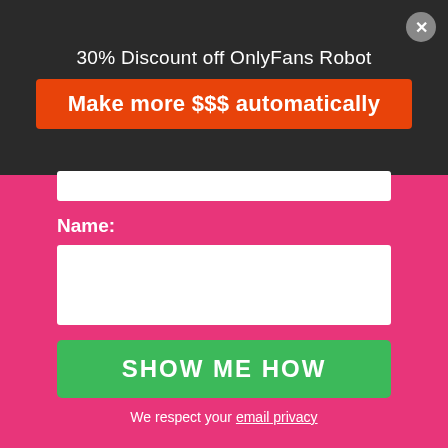30% Discount off OnlyFans Robot
Make more $$$ automatically
Name:
SHOW ME HOW
We respect your email privacy
We use cookies on our website to give you the most relevant experience by remembering your preferences and repeat visits. By clicking “Accept”, you consent to the use of ALL the cookies.
Cookie settings
ACCEPT